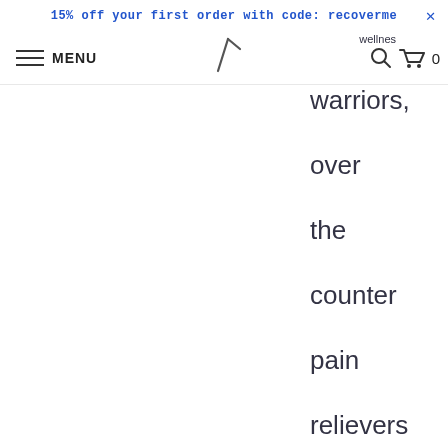15% off your first order with code: recoverme
MENU
wellness warriors, over the counter pain relievers (OTCs) can provide quick relief in a